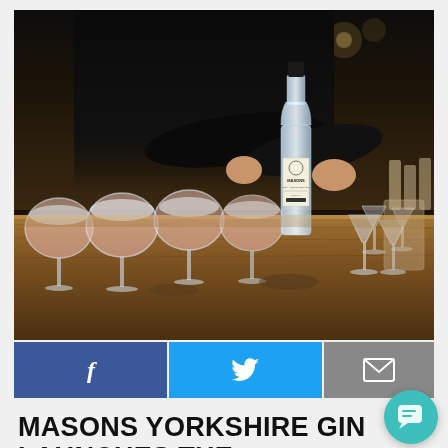[Figure (photo): Bar scene with a person in black pouring gin at a counter lined with balloon glasses filled with ice and a pink drink, plus a Masons Dry Yorkshire Gin bottle in the center, and martini glasses to the right]
MASONS YORKSHIRE GIN LAUNCHES THE YORKSHIRE GIN TRAIL